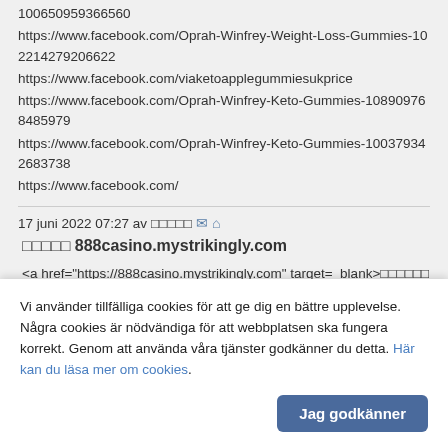100650959366560
https://www.facebook.com/Oprah-Winfrey-Weight-Loss-Gummies-102214279206622
https://www.facebook.com/viaketoapplegummiesukprice
https://www.facebook.com/Oprah-Winfrey-Keto-Gummies-108909768485979
https://www.facebook.com/Oprah-Winfrey-Keto-Gummies-100379342683738
https://www.facebook.com/
17 juni 2022 07:27 av □□□□□ ✉ ⌂
□□□□□ 888casino.mystrikingly.com
<a href="https://888casino.mystrikingly.com" target=_blank>□□□□□□</a>
<a href="https://888casino.mystrikingly.com" target=_blank>□□□□□□</a>
<a href="https://888casino.mystrikingly.com" target=_blank>□□□</a>...
Vi använder tillfälliga cookies för att ge dig en bättre upplevelse. Några cookies är nödvändiga för att webbplatsen ska fungera korrekt. Genom att använda våra tjänster godkänner du detta. Här kan du läsa mer om cookies.